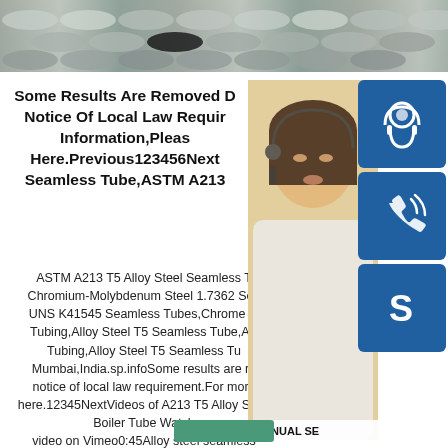[Figure (photo): Top strip showing stainless steel tubes/pipes stacked together]
Some Results Are Removed Due To A Notice Of Local Law Requirement For More Information,Please See Here.Previous123456Next Seamless Tube,ASTM A213
ASTM A213 T5 Alloy Steel Seamless Tube/Pipe, Chromium-Molybdenum Steel 1.7362 Seamless, UNS K41545 Seamless Tubes,Chrome Moly Tubing,Alloy Steel T5 Seamless Tube,AS Tubing,Alloy Steel T5 Seamless Tube Mumbai,India.sp.infoSome results are removed by notice of local law requirement.For more please see here.12345NextVideos of A213 T5 Alloy Steel Boiler Tube Watch video on Vimeo0:45Alloy steel seamless pipe23 viewsDec 29,2017VimeorelibalepipestubesSee more videos of A213 T5 Alloy Steel Boiler TubeASME SA213 T5 Tube,SA213 T5 Boiler Tube,A213 T5
[Figure (photo): Customer service representative (woman with headset) with blue icon buttons for phone/skype support and contact email bsteel1@163.com]